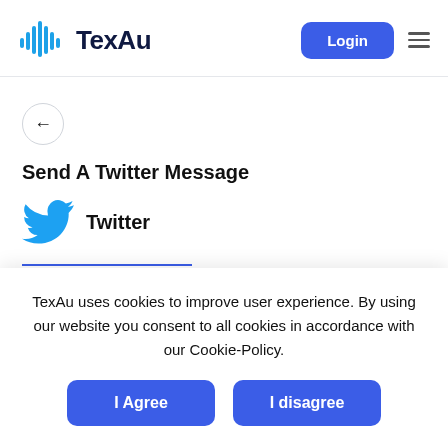[Figure (logo): TexAu logo with audio waveform icon and bold text 'TexAu']
[Figure (screenshot): Login button (blue rounded rectangle) and hamburger menu icon in nav]
[Figure (illustration): Back arrow button (circular, outlined)]
Send A Twitter Message
[Figure (illustration): Twitter bird icon (blue) with label 'Twitter']
TexAu uses cookies to improve user experience. By using our website you consent to all cookies in accordance with our Cookie-Policy.
I Agree | I disagree